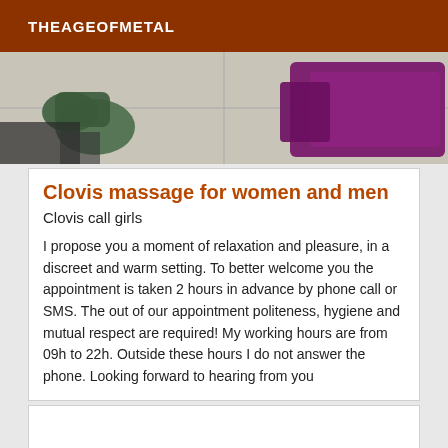THEAGEOFMETAL
[Figure (photo): Partial view of a floor with green and purple objects, likely a massage or wellness setting]
Clovis massage for women and men
Clovis call girls
I propose you a moment of relaxation and pleasure, in a discreet and warm setting. To better welcome you the appointment is taken 2 hours in advance by phone call or SMS. The out of our appointment politeness, hygiene and mutual respect are required! My working hours are from 09h to 22h. Outside these hours I do not answer the phone. Looking forward to hearing from you